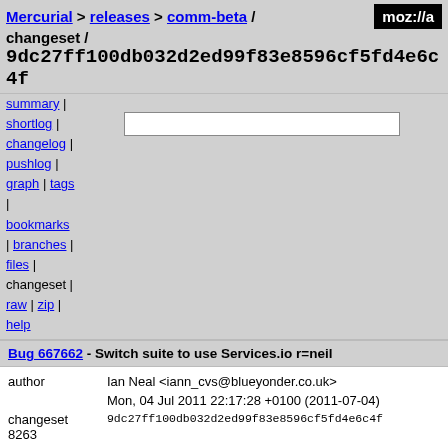Mercurial > releases > comm-beta / changeset / 9dc27ff100db032d2ed99f83e8596cf5fd4e6c4f
summary | shortlog | changelog | pushlog | graph | tags | bookmarks | branches | files | changeset | raw | zip | help
Bug 667662 - Switch suite to use Services.io r=neil
| field | value |
| --- | --- |
| author | Ian Neal <iann_cvs@blueyonder.co.uk> |
|  | Mon, 04 Jul 2011 22:17:28 +0100 (2011-07-04) |
| changeset 8263 | 9dc27ff100db032d2ed99f83e8596cf5fd4e6c4f |
| parent 8262 | a264f7b230164354885c6aa49b90ac2a969b16f6 |
| child 8264 | bc728348268b58d865327dcc493ca895190ef4f5 |
| push id | 84 |
| push user | bugzilla@standard8.plus.com |
| push date | Tue, 16 Aug 2011 21:25:04 +0000 (2011-08-16) |
| treeherder | comm-beta@6970c86be3cd [default view] [failures only] |